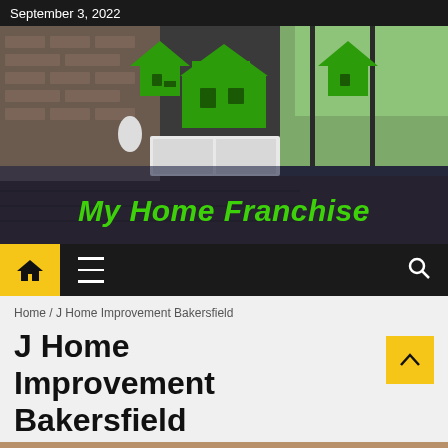September 3, 2022
[Figure (photo): Hero banner with living room/modern home interior background and My Home Franchise logo with green house icons and green italic text]
[Figure (screenshot): Navigation bar with yellow home icon box, hamburger menu icon, and search magnifying glass icon on dark background]
Home / J Home Improvement Bakersfield
J Home Improvement Bakersfield
[Figure (photo): Partial photo at bottom of page showing a person's face/hair, warm brown tones]